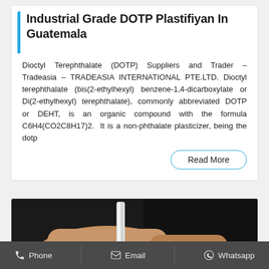Industrial Grade DOTP Plastifiyan In Guatemala
Dioctyl Terephthalate (DOTP) Suppliers and Trader – Tradeasia – TRADEASIA INTERNATIONAL PTE.LTD. Dioctyl terephthalate (bis(2-ethylhexyl) benzene-1,4-dicarboxylate or Di(2-ethylhexyl) terephthalate), commonly abbreviated DOTP or DEHT, is an organic compound with the formula C6H4(CO2C8H17)2. It is a non-phthalate plasticizer, being the dotp
[Figure (photo): A hand holding a transparent cylindrical tube or vial against a dark background]
Phone   Email   Whatsapp